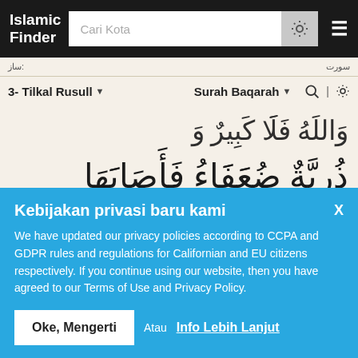Islamic Finder | Cari Kota
3- Tilkal Rusull | Surah Baqarah
[Figure (screenshot): Arabic Quran text lines showing Arabic script on a cream/beige background]
Kebijakan privasi baru kami
We have updated our privacy policies according to CCPA and GDPR rules and regulations for Californian and EU citizens respectively. If you continue using our website, then you have agreed to our Terms of Use and Privacy Policy.
Oke, Mengerti  Atau  Info Lebih Lanjut